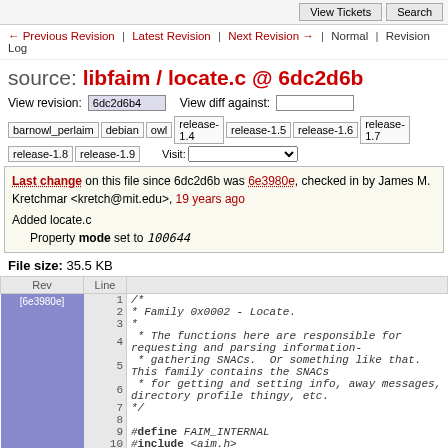View Tickets | Search
← Previous Revision | Latest Revision | Next Revision → | Normal | Revision Log
source: libfaim / locate.c @ 6dc2d6b
View revision: 6dc2d6b4   View diff against:
barnowl_perlaim  debian  owl  release-1.4  release-1.5  release-1.6  release-1.7  release-1.8  release-1.9  Visit:
Last change on this file since 6dc2d6b was 6e3980e, checked in by James M. Kretchmar <kretch@mit.edu>, 19 years ago
Added locate.c
    Property mode set to 100644
File size: 35.5 KB
| Rev | Line |  |
| --- | --- | --- |
| [6e3980e] | 1 | /* |
|  | 2 |  * Family 0x0002 - Locate. |
|  | 3 |  * |
|  | 4 |  * The functions here are responsible for requesting and parsing information- |
|  | 5 |  * gathering SNACs.  Or something like that. This family contains the SNACs |
|  | 6 |  * for getting and setting info, away messages, directory profile thingy, etc. |
|  | 7 |  */ |
|  | 8 |  |
|  | 9 | #define FAIM_INTERNAL |
|  | 10 | #include <aim.h> |
|  | 11 | #ifdef _WIN32 |
|  | 12 | #include "win32dep.h" |